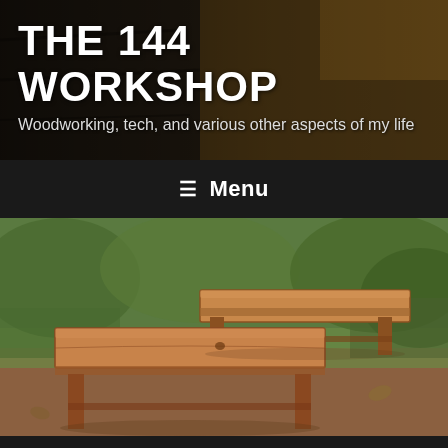[Figure (photo): Website header banner with dark overlay showing a woodworking workshop scene in background]
THE 144 WORKSHOP
Woodworking, tech, and various other aspects of my life
≡ Menu
[Figure (photo): Two wooden benches placed outdoors on grass and dirt, handcrafted from cedar or pine wood, photographed from above at an angle]